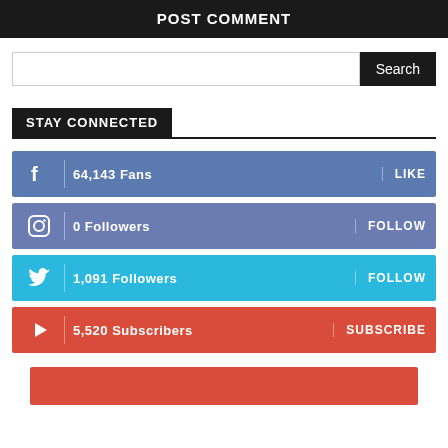POST COMMENT
[Figure (screenshot): Search bar with text input and black Search button]
STAY CONNECTED
64,143 Fans — LIKE (Facebook)
0 Followers — FOLLOW (Instagram)
1,091 Followers — FOLLOW (Twitter)
5,520 Subscribers — SUBSCRIBE (YouTube)
[Figure (other): Red rectangular block at bottom]